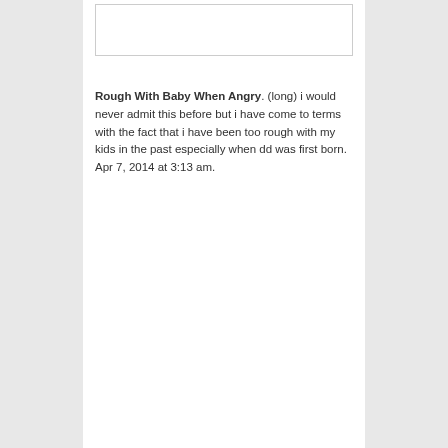[Figure (other): White rectangular image placeholder with border]
Rough With Baby When Angry. (long) i would never admit this before but i have come to terms with the fact that i have been too rough with my kids in the past especially when dd was first born. Apr 7, 2014 at 3:13 am.